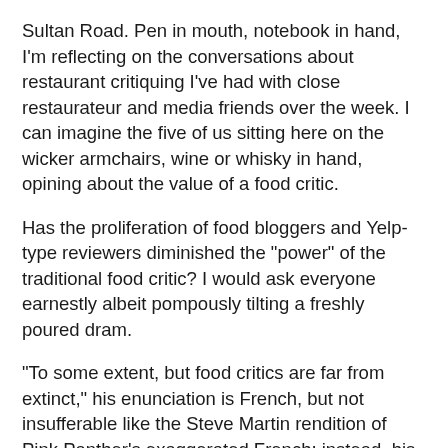Sultan Road. Pen in mouth, notebook in hand, I'm reflecting on the conversations about restaurant critiquing I've had with close restaurateur and media friends over the week. I can imagine the five of us sitting here on the wicker armchairs, wine or whisky in hand, opining about the value of a food critic.
Has the proliferation of food bloggers and Yelp-type reviewers diminished the "power" of the traditional food critic? I would ask everyone earnestly albeit pompously tilting a freshly poured dram.
"To some extent, but food critics are far from extinct," his enunciation is French, but not insufferable like the Steve Martin rendition of Pink Panther's exaggerated French; instead, his diction is punctured with crisp European English tones.
"The traditional food critic's knowledge of food, trends, and most importantly products is much appreciated by some readers who ultimately 'select' the food critic they will read," continues André Terrail, who in recent years inherited from